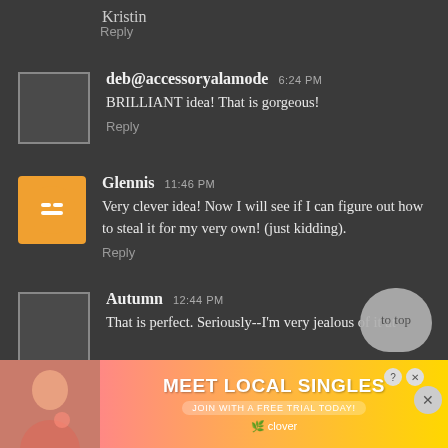Kristin
Reply
deb@accessoryalamode  6:24 PM
BRILLIANT idea! That is gorgeous!
Reply
Glennis  11:46 PM
Very clever idea! Now I will see if I can figure out how to steal it for my very own! (just kidding).
Reply
Autumn  12:44 PM
That is  perfect. Seriously--I'm very jealous of it at
[Figure (screenshot): Advertisement banner: Meet Local Singles - Join with a free trial today - Clover app]